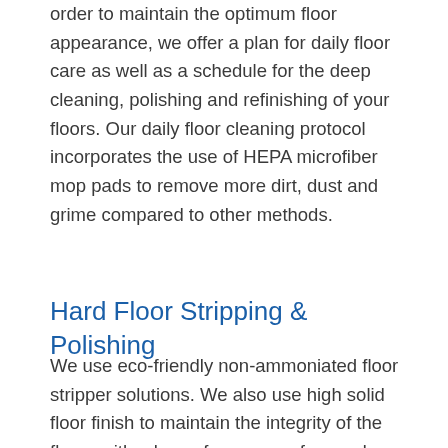order to maintain the optimum floor appearance, we offer a plan for daily floor care as well as a schedule for the deep cleaning, polishing and refinishing of your floors. Our daily floor cleaning protocol incorporates the use of HEPA microfiber mop pads to remove more dirt, dust and grime compared to other methods.
Hard Floor Stripping & Polishing
We use eco-friendly non-ammoniated floor stripper solutions. We also use high solid floor finish to maintain the integrity of the floors with a lower frequency of procedures and necessity for stripping and refinishing work